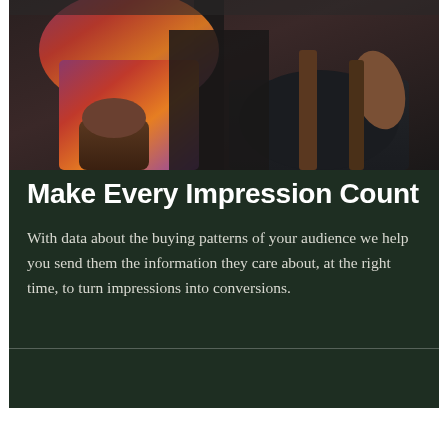[Figure (photo): A cropped photo showing people sitting, with colorful patterned clothing visible, legs and laps in frame, dark background, indoor setting.]
Make Every Impression Count
With data about the buying patterns of your audience we help you send them the information they care about, at the right time, to turn impressions into conversions.